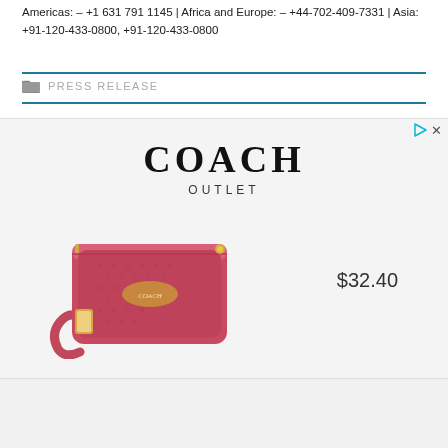Americas: – +1 631 791 1145 | Africa and Europe: – +44-702-409-7331 | Asia: +91-120-433-0800, +91-120-433-0800
PRESS RELEASE
[Figure (photo): Coach Outlet advertisement showing a pink/red leather wristlet wallet priced at $32.40, with the Coach logo at top and an outlet label below it.]